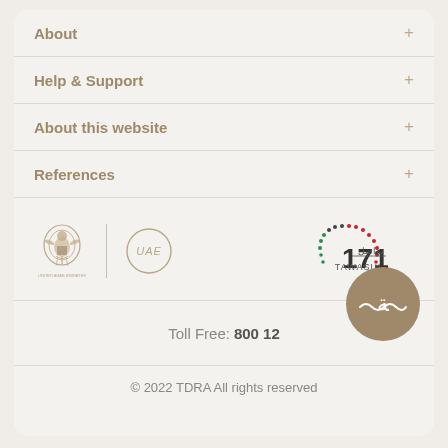About
Help & Support
About this website
References
[Figure (logo): UAE Government logos: Coat of Arms and UAE text logo (left), Tawasul 171 logo (right)]
[Figure (logo): TDRA circular badge logo]
Toll Free: 800 12
© 2022 TDRA All rights reserved